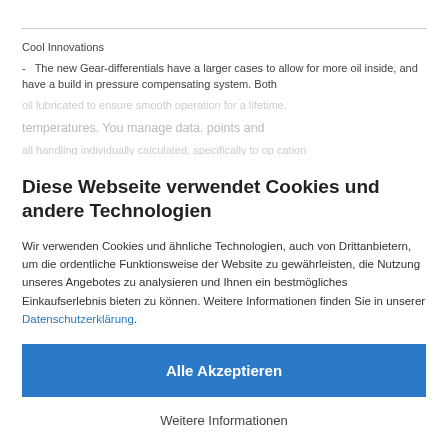Cool Innovations
- The new Gear-differentials have a larger cases to allow for more oil inside, and have a build in pressure compensating system. Both
Diese Webseite verwendet Cookies und andere Technologien
Wir verwenden Cookies und ähnliche Technologien, auch von Drittanbietern, um die ordentliche Funktionsweise der Website zu gewährleisten, die Nutzung unseres Angebotes zu analysieren und Ihnen ein bestmögliches Einkaufserlebnis bieten zu können. Weitere Informationen finden Sie in unserer Datenschutzerklärung.
Alle Akzeptieren
Weitere Informationen